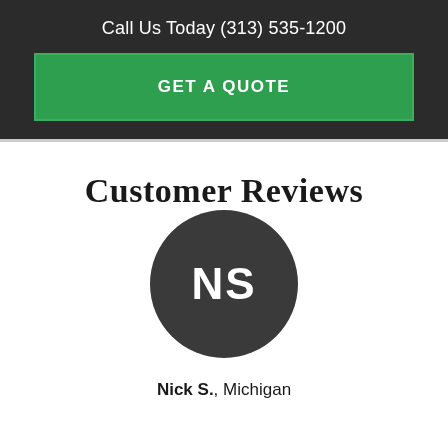Call Us Today (313) 535-1200
GET A QUOTE
Customer Reviews
[Figure (illustration): Dark circular avatar with white initials NS representing reviewer Nick S.]
Nick S., Michigan